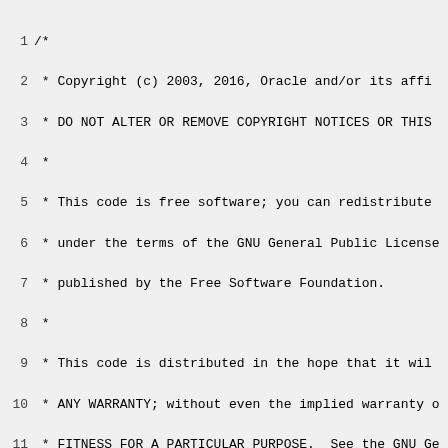Source code file with Oracle copyright header and include directives. Lines 1-29 showing a C++ source file header comment (Oracle copyright 2003-2016, GNU GPL license notice) followed by #include statements for precompiled.hpp, asm/macroAssembler.hpp, asm/macroAssembler.inline.hpp, interpreter/interpreter.hpp, and nativeInst_x86.hpp.